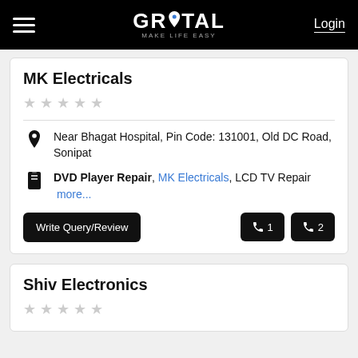GROTAL MAKE LIFE EASY | Login
MK Electricals
Near Bhagat Hospital, Pin Code: 131001, Old DC Road, Sonipat
DVD Player Repair, MK Electricals, LCD TV Repair more...
Write Query/Review | Phone 1 | Phone 2
Shiv Electronics